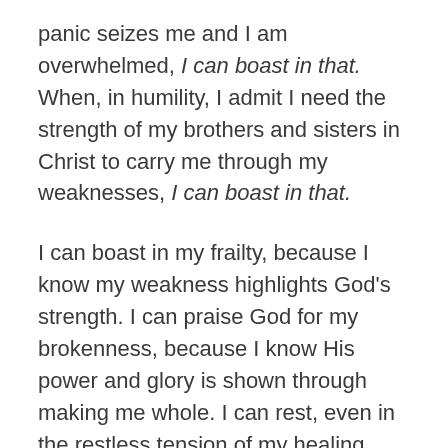panic seizes me and I am overwhelmed, I can boast in that. When, in humility, I admit I need the strength of my brothers and sisters in Christ to carry me through my weaknesses, I can boast in that.
I can boast in my frailty, because I know my weakness highlights God's strength. I can praise God for my brokenness, because I know His power and glory is shown through making me whole. I can rest, even in the restless tension of my healing, because I know God's sustaining grace is sufficient for the in-between time.
One day, all the fears of this world will fade away and only the things of God will remain.